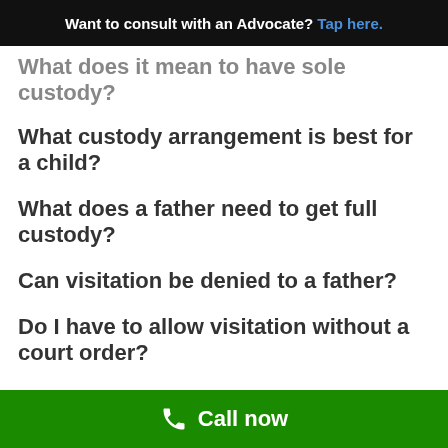Want to consult with an Advocate? Tap here.
What does it mean to have sole custody?
What custody arrangement is best for a child?
What does a father need to get full custody?
Can visitation be denied to a father?
Do I have to allow visitation without a court order?
How can a father lose his visitation rights?
Does a mother automatically have full custody?
Call now